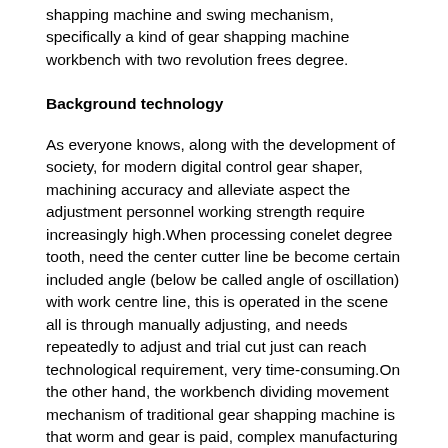shapping machine and swing mechanism, specifically a kind of gear shapping machine workbench with two revolution frees degree.
Background technology
As everyone knows, along with the development of society, for modern digital control gear shaper, machining accuracy and alleviate aspect the adjustment personnel working strength require increasingly high.When processing conelet degree tooth, need the center cutter line be become certain included angle (below be called angle of oscillation) with work centre line, this is operated in the scene all is through manually adjusting, and needs repeatedly to adjust and trial cut just can reach technological requirement, very time-consuming.On the other hand, the workbench dividing movement mechanism of traditional gear shapping machine is that worm and gear is paid, complex manufacturing technology, and transmission efficiency is low.Therefore how to shorten the angle of oscillation adjustment time, simplify improve workbench dividing movement mechanism, indexing accuracy is a problem anxious to be solved in the present